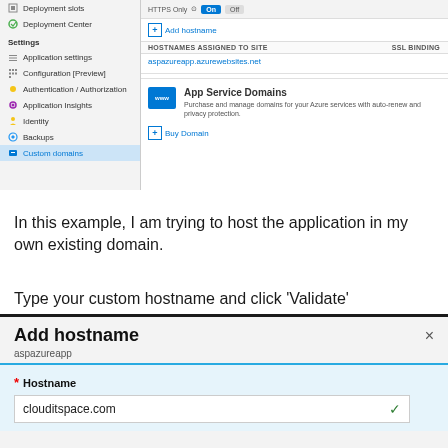[Figure (screenshot): Azure Portal screenshot showing Custom domains settings panel with sidebar menu items (Deployment slots, Deployment Center, Settings: Application settings, Configuration [Preview], Authentication/Authorization, Application Insights, Identity, Backups, Custom domains - highlighted). Main area shows HTTPS toggle (On/Off), Add hostname button, HOSTNAMES ASSIGNED TO SITE / SSL BINDING header, azureapp.azurewebsites.net entry, App Service Domains section with www icon, description text, and Buy Domain button.]
In this example, I am trying to host the application in my own existing domain.
Type your custom hostname and click ‘Validate’
[Figure (screenshot): Add hostname dialog panel showing title 'Add hostname', subtitle 'aspazureapp', and a Hostname field with value 'clouditspace.com' and a green checkmark.]